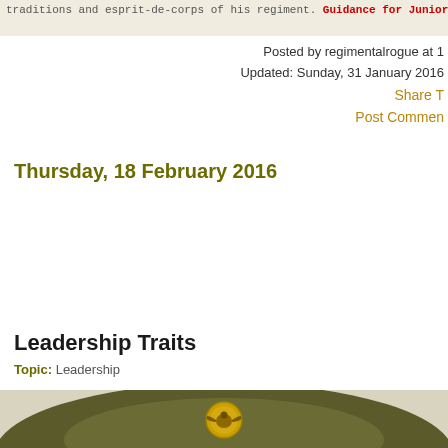traditions and esprit-de-corps of his regiment. [Guidance for Junior Officers]
Posted by regimentalrogue at 1
Updated: Sunday, 31 January 2016
Share T
Post Commen
Thursday, 18 February 2016
Leadership Traits
Topic: Leadership
[Figure (photo): Close-up photograph of an olive drab military beret with a gold US Army eagle badge/emblem on the front]